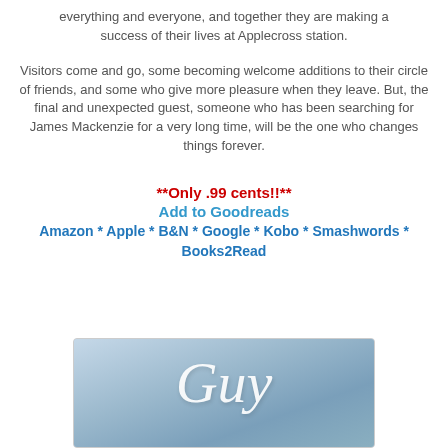everything and everyone, and together they are making a success of their lives at Applecross station.
Visitors come and go, some becoming welcome additions to their circle of friends, and some who give more pleasure when they leave. But, the final and unexpected guest, someone who has been searching for James Mackenzie for a very long time, will be the one who changes things forever.
**Only .99 cents!!**
Add to Goodreads
Amazon * Apple * B&N * Google * Kobo * Smashwords * Books2Read
[Figure (illustration): Book cover showing the word 'Guy' in large italic white script over a soft blue-grey mountain/sky background.]